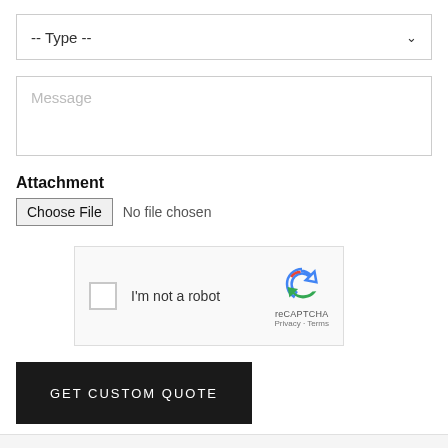[Figure (screenshot): Dropdown select field with label '-- Type --' and a down-arrow chevron on the right]
[Figure (screenshot): Text area input field with placeholder text 'Message']
Attachment
[Figure (screenshot): File input control showing 'Choose File' button and 'No file chosen' text]
[Figure (screenshot): reCAPTCHA widget with checkbox, 'I'm not a robot' label, reCAPTCHA logo, Privacy and Terms links]
[Figure (screenshot): Dark button labeled 'GET CUSTOM QUOTE' in white uppercase spaced letters]
[Figure (screenshot): Partial light-grey section visible at bottom of page]